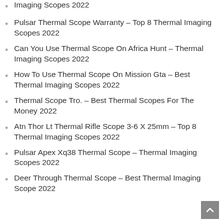Imaging Scopes 2022
Pulsar Thermal Scope Warranty – Top 8 Thermal Imaging Scopes 2022
Can You Use Thermal Scope On Africa Hunt – Thermal Imaging Scopes 2022
How To Use Thermal Scope On Mission Gta – Best Thermal Imaging Scopes 2022
Thermal Scope Tro. – Best Thermal Scopes For The Money 2022
Atn Thor Lt Thermal Rifle Scope 3-6 X 25mm – Top 8 Thermal Imaging Scopes 2022
Pulsar Apex Xq38 Thermal Scope – Thermal Imaging Scopes 2022
Deer Through Thermal Scope – Best Thermal Imaging Scope 2022